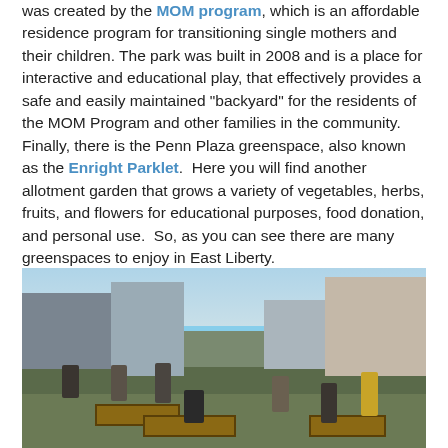was created by the MOM program, which is an affordable residence program for transitioning single mothers and their children. The park was built in 2008 and is a place for interactive and educational play, that effectively provides a safe and easily maintained "backyard" for the residents of the MOM Program and other families in the community.  Finally, there is the Penn Plaza greenspace, also known as the Enright Parklet.  Here you will find another allotment garden that grows a variety of vegetables, herbs, fruits, and flowers for educational purposes, food donation, and personal use.  So, as you can see there are many greenspaces to enjoy in East Liberty.
[Figure (photo): Outdoor photo of people working in a community allotment garden with raised garden beds, surrounded by urban residential buildings and bare trees under a blue sky.]